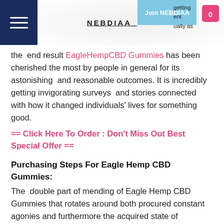NEBDIAA | Join NEBDIAA
ually as the end result EagleHempCBD Gummies has been cherished the most by people in general for its astonishing  and reasonable outcomes. It is incredibly getting invigorating surveys  and stories connected with how it changed individuals' lives for something good.
== Click Here To Order : Don't Miss Out Best Special Offer ==
Purchasing Steps For Eagle Hemp CBD Gummies:
The  double part of mending of Eagle Hemp CBD Gummies that rotates around both procured constant agonies and furthermore the acquired state of  torments is the genuine justification for why this is the main CBD  supplement that can be generally appropriate for all individuals.